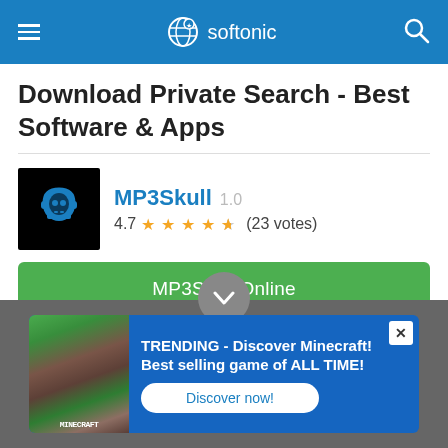[Figure (screenshot): Softonic website header bar with hamburger menu, Softonic logo with globe icon, and search icon on blue background]
Download Private Search - Best Software & Apps
[Figure (logo): MP3Skull app icon - black background with blue headphone skull logo]
MP3Skull 1.0
4.7 ★★★★½ (23 votes)
MP3Skull Online
Music Extraction From Online Videos
MP3Skull is a search engine for mp3 files. This multimedia app allows users to search for mp3 files around the web. It provides download links of particular...
[Figure (screenshot): Advertisement banner: TRENDING - Discover Minecraft! Best selling game of ALL TIME! with Discover now button and Minecraft game image]